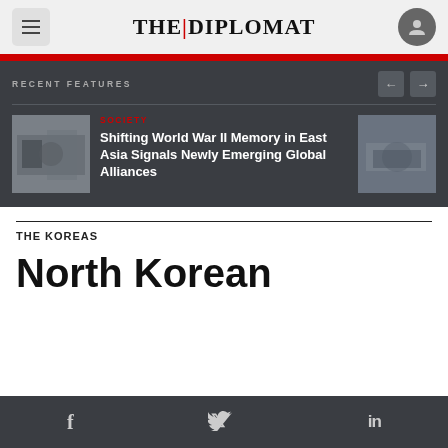THE DIPLOMAT
RECENT FEATURES
[Figure (photo): Thumbnail image left - museum/exhibition interior]
SOCIETY
Shifting World War II Memory in East Asia Signals Newly Emerging Global Alliances
[Figure (photo): Thumbnail image right - hands/money subject]
THE KOREAS
North Korean
f  Twitter  in